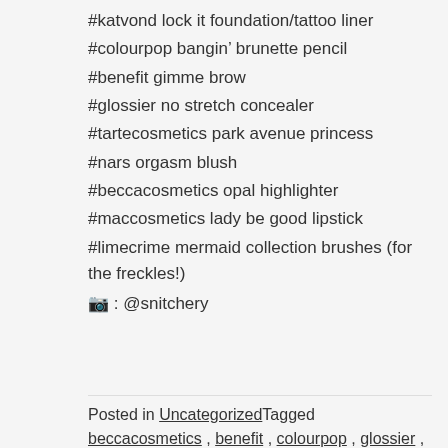#katvond lock it foundation/tattoo liner
#colourpop bangin’ brunette pencil
#benefit gimme brow
#glossier no stretch concealer
#tartecosmetics park avenue princess
#nars orgasm blush
#beccacosmetics opal highlighter
#maccosmetics lady be good lipstick
#limecrime mermaid collection brushes (for the freckles!)
📷 : @snitchery
Posted in Uncategorized Tagged
beccacosmetics , benefit , colourpop , glossier ,